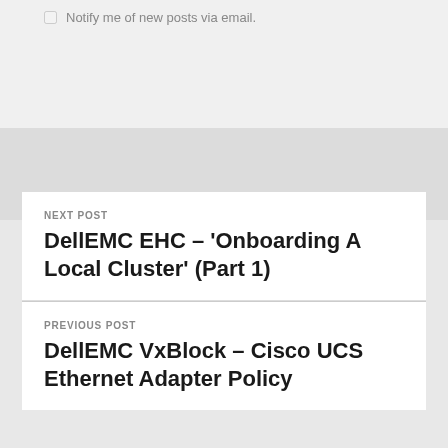Notify me of new posts via email.
NEXT POST
DellEMC EHC – 'Onboarding A Local Cluster' (Part 1)
PREVIOUS POST
DellEMC VxBlock – Cisco UCS Ethernet Adapter Policy